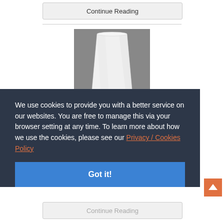Continue Reading
[Figure (photo): A white disposable plastic/paper cup on a gray background]
We use cookies to provide you with a better service on our websites. You are free to manage this via your browser setting at any time. To learn more about how we use the cookies, please see our Privacy / Cookies Policy
Got it!
Continue Reading